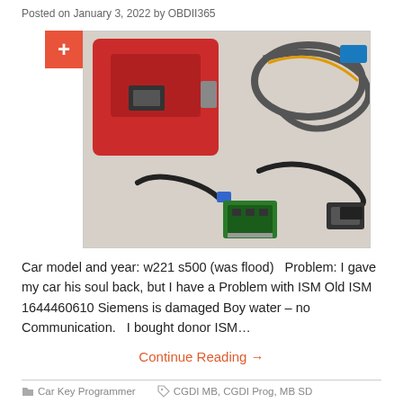Posted on January 3, 2022 by OBDII365
[Figure (photo): Photo of a red OBD2 car diagnostic programmer device with cables, adapters, and a small green circuit board laid out on a gray surface.]
Car model and year: w221 s500 (was flood)   Problem: I gave my car his soul back, but I have a Problem with ISM Old ISM 1644460610 Siemens is damaged Boy water – no Communication.   I bought donor ISM…
Continue Reading →
Car Key Programmer   CGDI MB, CGDI Prog, MB SD